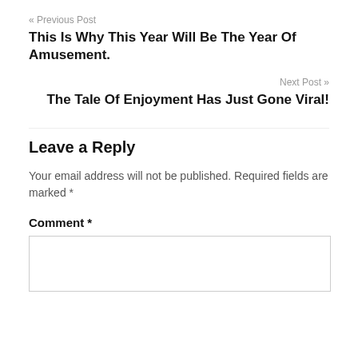« Previous Post
This Is Why This Year Will Be The Year Of Amusement.
Next Post »
The Tale Of Enjoyment Has Just Gone Viral!
Leave a Reply
Your email address will not be published. Required fields are marked *
Comment *